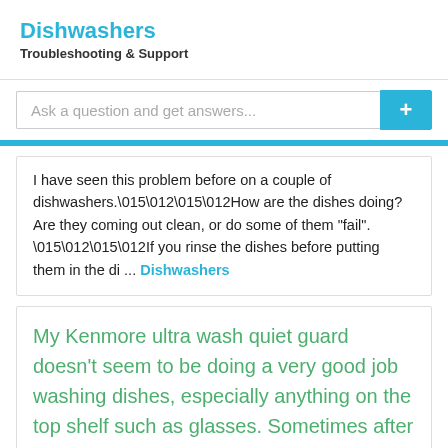Dishwashers
Troubleshooting & Support
Ask a question and get answers...
I have seen this problem before on a couple of dishwashers.\015\012\015\012How are the dishes doing? Are they coming out clean, or do some of them "fail". \015\012\015\012If you rinse the dishes before putting them in the di ... Dishwashers
My Kenmore ultra wash quiet guard doesn't seem to be doing a very good job washing dishes, especially anything on the top shelf such as glasses. Sometimes after a whole cycle, their are still fingerprints on the glasses and scum on the bottom of coffee cups. Also it doesn't seem to use much of the detergent. I fll the dispenser about half